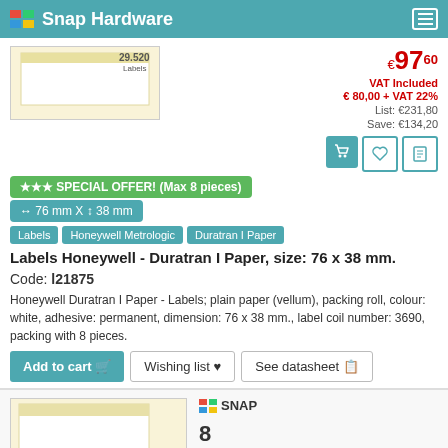Snap Hardware
[Figure (photo): Product image of label roll - top portion]
€97.60 VAT Included € 80,00 + VAT 22%
List: €231,80
Save: €134,20
★★★ SPECIAL OFFER! (Max 8 pieces)
↔ 76 mm X ↕ 38 mm
Labels   Honeywell Metrologic   Duratran I Paper
Labels Honeywell - Duratran I Paper, size: 76 x 38 mm.
Code: l21875
Honeywell Duratran I Paper - Labels; plain paper (vellum), packing roll, colour: white, adhesive: permanent, dimension: 76 x 38 mm., label coil number: 3690, packing with 8 pieces.
Add to cart   Wishing list ♥   See datasheet
[Figure (photo): Product image of label roll - bottom section with SNAP brand logo and quantity 8]